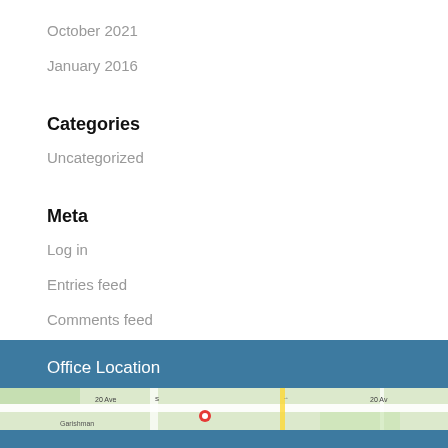October 2021
January 2016
Categories
Uncategorized
Meta
Log in
Entries feed
Comments feed
WordPress.org
Office Location
[Figure (map): Google Maps embed showing a street map with 20 Ave label visible]